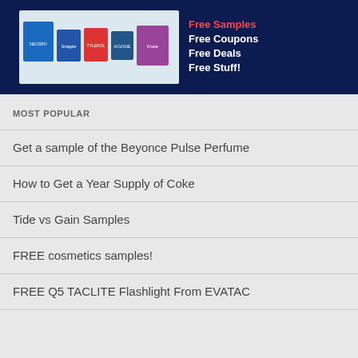[Figure (illustration): Banner advertisement with product images (Neosporin, Snapple, Tylenol, Acuvue, etc.) on left and text 'Free Samples Free Coupons Free Deals Free Stuff!' on right, dark navy background]
MOST POPULAR
Get a sample of the Beyonce Pulse Perfume
How to Get a Year Supply of Coke
Tide vs Gain Samples
FREE cosmetics samples!
FREE Q5 TACLITE Flashlight From EVATAC